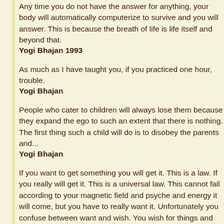Any time you do not have the answer for anything, your body will automatically computerize to survive and you will answer. This is because the breath of life is life itself and beyond that.
Yogi Bhajan 1993
As much as I have taught you, if you practiced one hour, trouble.
Yogi Bhajan
People who cater to children will always lose them because they expand the ego to such an extent that there is nothing. The first thing such a child will do is to disobey the parents and...
Yogi Bhajan
If you want to get something you will get it. This is a law. If you really will get it. This is a universal law. This cannot fail according to your magnetic field and psyche and energy it will come, but you have to really want it. Unfortunately you confuse between want and wish. You wish for things and you...
Yogi Bhajan 1984